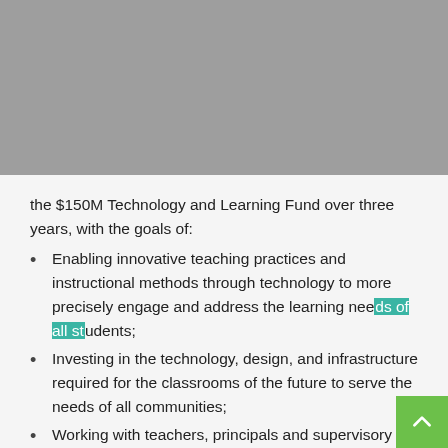[Figure (other): Gray banner image at top of page]
the $150M Technology and Learning Fund over three years, with the goals of:
Enabling innovative teaching practices and instructional methods through technology to more precisely engage and address the learning needs of all students;
Investing in the technology, design, and infrastructure required for the classrooms of the future to serve the needs of all communities;
Working with teachers, principals and supervisory officials (and their professional associations) to identify and share effective and innovative teaching practices that include the use of technology;